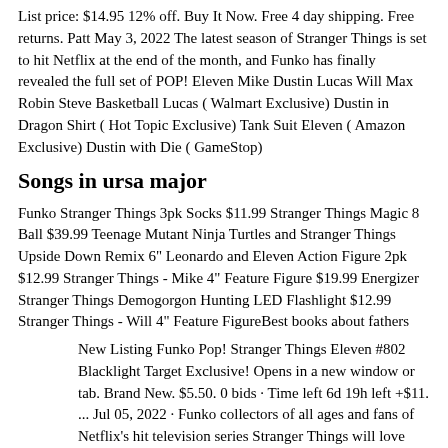List price: $14.95 12% off. Buy It Now. Free 4 day shipping. Free returns. Patt May 3, 2022 The latest season of Stranger Things is set to hit Netflix at the end of the month, and Funko has finally revealed the full set of POP! Eleven Mike Dustin Lucas Will Max Robin Steve Basketball Lucas ( Walmart Exclusive) Dustin in Dragon Shirt ( Hot Topic Exclusive) Tank Suit Eleven ( Amazon Exclusive) Dustin with Die ( GameStop)
Songs in ursa major
Funko Stranger Things 3pk Socks $11.99 Stranger Things Magic 8 Ball $39.99 Teenage Mutant Ninja Turtles and Stranger Things Upside Down Remix 6" Leonardo and Eleven Action Figure 2pk $12.99 Stranger Things - Mike 4" Feature Figure $19.99 Energizer Stranger Things Demogorgon Hunting LED Flashlight $12.99 Stranger Things - Will 4" Feature FigureBest books about fathers
New Listing Funko Pop! Stranger Things Eleven #802 Blacklight Target Exclusive! Opens in a new window or tab. Brand New. $5.50. 0 bids · Time left 6d 19h left +$11. ... Jul 05, 2022 · Funko collectors of all ages and fans of Netflix's hit television series Stranger Things will love this new addition to the Little Golden Book line. Welcome to the thrilling world of Netflix's hit series Stranger Things. Follow Eleven, Dustin, Max